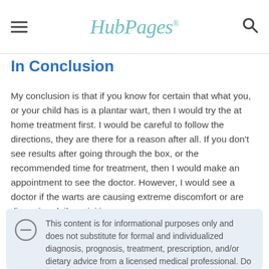HubPages
In Conclusion
My conclusion is that if you know for certain that what you, or your child has is a plantar wart, then I would try the at home treatment first. I would be careful to follow the directions, they are there for a reason after all. If you don't see results after going through the box, or the recommended time for treatment, then I would make an appointment to see the doctor. However, I would see a doctor if the warts are causing extreme discomfort or are disrupting daily activities.
This content is for informational purposes only and does not substitute for formal and individualized diagnosis, prognosis, treatment, prescription, and/or dietary advice from a licensed medical professional. Do not stop or alter your current course of treatment. If pregnant or nursing, consult with a qualified provider on an individual basis.